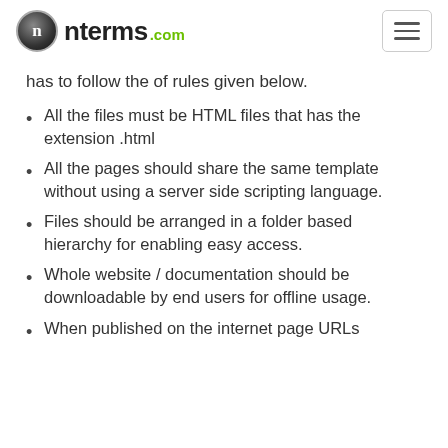nterms .com
has to follow the of rules given below.
All the files must be HTML files that has the extension .html
All the pages should share the same template without using a server side scripting language.
Files should be arranged in a folder based hierarchy for enabling easy access.
Whole website / documentation should be downloadable by end users for offline usage.
When published on the internet page URLs...